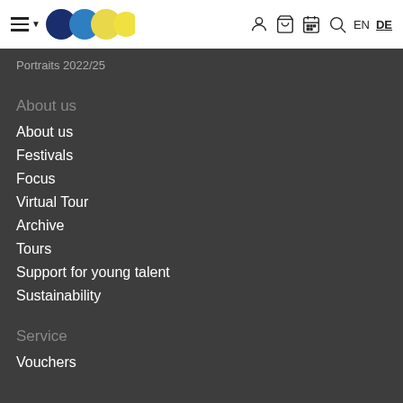Navigation bar with hamburger menu, logo circles, user/cart/calendar/search icons, EN DE language switcher
Portraits 2022/25
About us
About us
Festivals
Focus
Virtual Tour
Archive
Tours
Support for young talent
Sustainability
Service
Vouchers